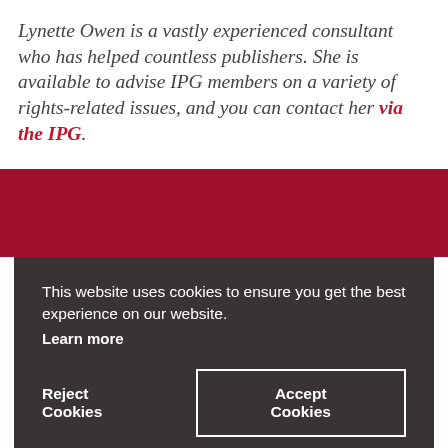Lynette Owen is a vastly experienced consultant who has helped countless publishers. She is available to advise IPG members on a variety of rights-related issues, and you can contact her via the IPG.
This website uses cookies to ensure you get the best experience on our website.
Learn more
Reject Cookies
Accept Cookies
CONTACT US